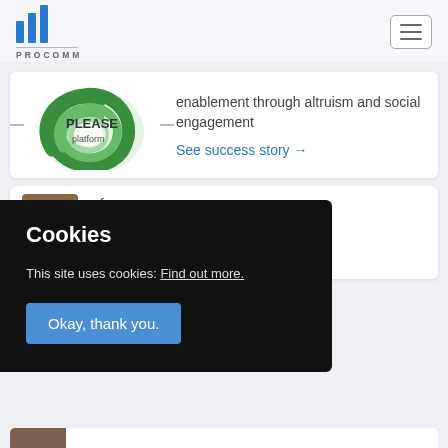[Figure (logo): PROCOMM logo with three blue vertical bars and text PROCOMM below]
[Figure (logo): PLEASE platform logo - green swirl/leaf design with text PLEASE platform]
enablement through altruism and social engagement
See success story →
Cookies
This site uses cookies: Find out more.
Okay, thank you.
of an
et in Eastern
ry →